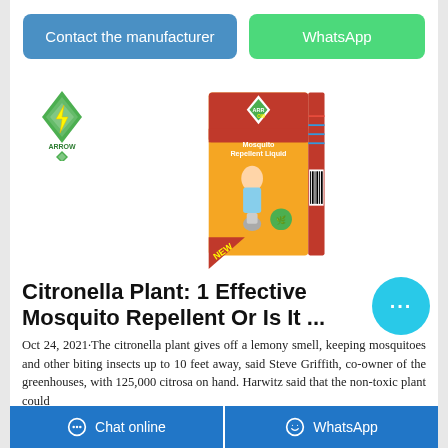[Figure (screenshot): Two buttons: 'Contact the manufacturer' (blue) and 'WhatsApp' (green)]
[Figure (logo): Arrow brand logo - green diamond shape with lightning bolt and text ARROW]
[Figure (photo): Arrow brand Mosquito Repellent Liquid product box - orange/red/yellow packaging with child image, labeled NEW]
Citronella Plant: 1 Effective Mosquito Repellent Or Is It ...
Oct 24, 2021·The citronella plant gives off a lemony smell, keeping mosquitoes and other biting insects up to 10 feet away, said Steve Griffith, co-owner of the greenhouses, with 125,000 citrosa on hand. Harwitz said that the non-toxic plant could
Chat online   WhatsApp